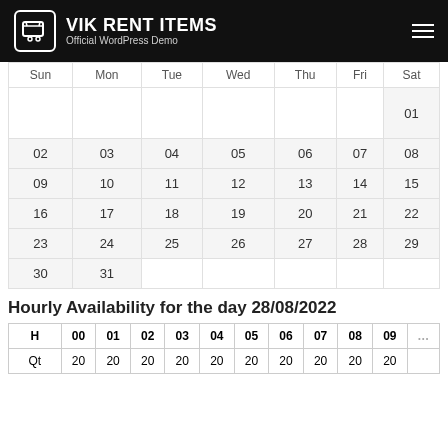VIK RENT ITEMS - Official WordPress Demo
| Sun | Mon | Tue | Wed | Thu | Fri | Sat |
| --- | --- | --- | --- | --- | --- | --- |
|  |  |  |  |  |  | 01 |
| 02 | 03 | 04 | 05 | 06 | 07 | 08 |
| 09 | 10 | 11 | 12 | 13 | 14 | 15 |
| 16 | 17 | 18 | 19 | 20 | 21 | 22 |
| 23 | 24 | 25 | 26 | 27 | 28 | 29 |
| 30 | 31 |  |  |  |  |  |
Hourly Availability for the day 28/08/2022
| H | 00 | 01 | 02 | 03 | 04 | 05 | 06 | 07 | 08 | 09 |
| --- | --- | --- | --- | --- | --- | --- | --- | --- | --- | --- |
| Qt | 20 | 20 | 20 | 20 | 20 | 20 | 20 | 20 | 20 | 20 |